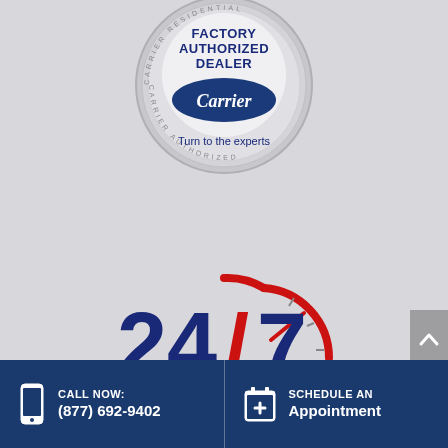[Figure (logo): Carrier Factory Authorized Dealer badge — silver medallion with 'FACTORY AUTHORIZED DEALER' text in dark blue and Carrier oval logo with script 'Carrier' in white, tagline 'Turn to the experts' below]
[Figure (logo): 24/7 Emergency Services logo — large bold dark blue '24/7' text with a red clock/speedometer graphic, 'Emergency Services' text below in dark blue]
CALL NOW: (877) 692-9402
SCHEDULE AN Appointment